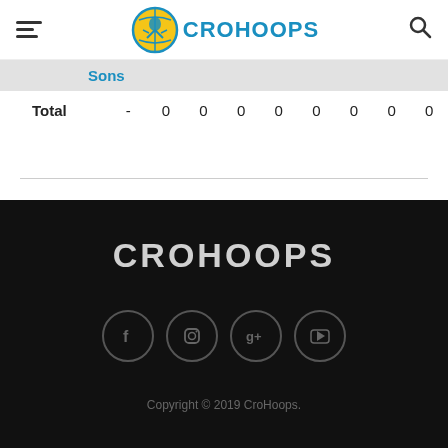CroHoops
| Team |  | 0 | 0 | 0 | 0 | 0 | 0 | 0 | 0 |
| --- | --- | --- | --- | --- | --- | --- | --- | --- | --- |
| Sons |  |  |  |  |  |  |  |  |  |
| Total | - | 0 | 0 | 0 | 0 | 0 | 0 | 0 | 0 |
[Figure (logo): CroHoops footer logo text in white/gray on black background]
[Figure (infographic): Social media icons: Facebook, Instagram, Google+, YouTube circles on dark background]
Copyright © 2019 CroHoops.